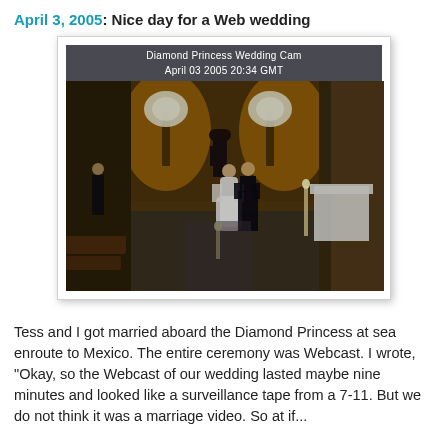April 3, 2005: Nice day for a Web wedding
[Figure (photo): Webcam screenshot from the Diamond Princess Wedding Cam showing a wedding ceremony in progress aboard the ship. Timestamp: April 03 2005 20:34 GMT. Overhead view of bride in white dress and groom in dark suit standing before officiant, with floral arrangements and candles.]
Tess and I got married aboard the Diamond Princess at sea enroute to Mexico. The entire ceremony was Webcast. I wrote, "Okay, so the Webcast of our wedding lasted maybe nine minutes and looked like a surveillance tape from a 7-11. But we do not think it was a marriage video. So at if...